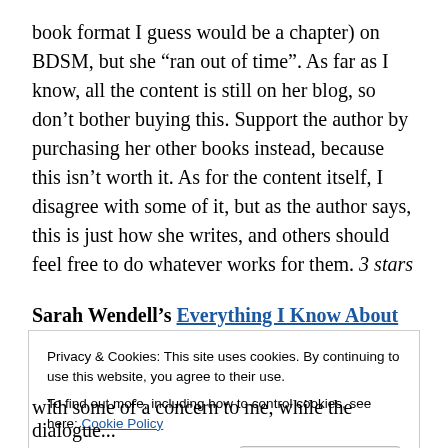book format I guess would be a chapter) on BDSM, but she “ran out of time”. As far as I know, all the content is still on her blog, so don’t bother buying this. Support the author by purchasing her other books instead, because this isn’t worth it. As for the content itself, I disagree with some of it, but as the author says, this is just how she writes, and others should feel free to do whatever works for them. 3 stars
Sarah Wendell’s Everything I Know About Love I Learned from Romance Novels: Nowhere near as
Privacy & Cookies: This site uses cookies. By continuing to use this website, you agree to their use.
To find out more, including how to control cookies, see here: Cookie Policy
Close and accept
with some of a concern to me, while the dialogue...